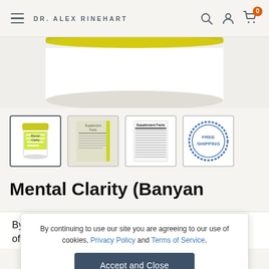DR. ALEX RINEHART
[Figure (photo): Partial product image - top of a white supplement jar with yellow lid, cropped at top of page]
[Figure (photo): Thumbnail 1 (active/selected): Mental Clarity supplement bottle - white jar with yellow lid and green/yellow label]
[Figure (photo): Thumbnail 2: Back label of Mental Clarity supplement with Supplement Facts text]
[Figure (photo): Thumbnail 3: Supplement Facts panel closeup]
[Figure (illustration): Thumbnail 4: FREE SHIPPING circular badge/stamp in blue]
Mental Clarity (Banyan
By continuing to browse our site you agree to our use of cookies, revised privacy policy and terms of
By continuing to use our site you are agreeing to our use of cookies, Privacy Policy and Terms of Service.
Accept and Close